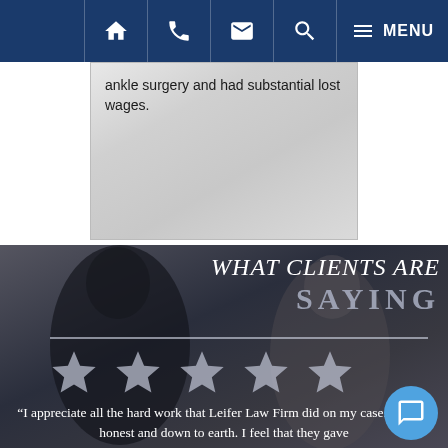Navigation bar with home, phone, email, search, and MENU icons
ankle surgery and had substantial lost wages.
[Figure (photo): Background image showing two people in a consultation/meeting setting, partially visible]
WHAT CLIENTS ARE SAYING
“I appreciate all the hard work that Leifer Law Firm did on my case. Always honest and down to earth. I feel that they gave